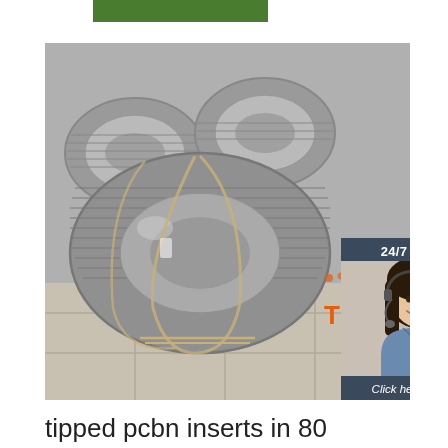[Figure (other): Green horizontal bar/banner element at top]
[Figure (photo): Large photo of steel wire rod coils stacked in a warehouse, silver/gray metallic coils, with an overlaid chat widget showing a customer service representative with headset and text '24/7 Online', 'Click here for free chat!', and a 'QUOTATION' button in orange. A 'TOP' badge with orange dots appears at bottom right of the image.]
tipped pcbn inserts in 80